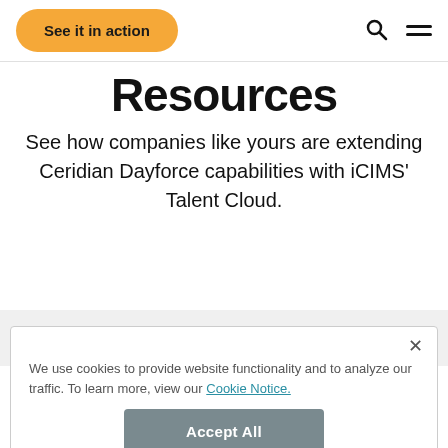[Figure (screenshot): Navigation bar with orange 'See it in action' button on left and search/menu icons on right]
Resources
See how companies like yours are extending Ceridian Dayforce capabilities with iCIMS' Talent Cloud.
We use cookies to provide website functionality and to analyze our traffic. To learn more, view our Cookie Notice.
[Figure (screenshot): Accept All button in grey rounded rectangle]